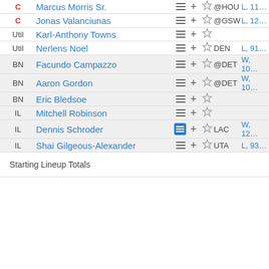| Pos | Player |  | Opp | Result |
| --- | --- | --- | --- | --- |
| C | Marcus Morris Sr. | ☰ + ☆ | @HOU | L, 11… |
| C | Jonas Valanciunas | ☰ + ☆ | @GSW | L, 12… |
| Util | Karl-Anthony Towns | ☰ + ☆ |  |  |
| Util | Nerlens Noel | ☰ + ☆ | DEN | L, 91… |
| BN | Facundo Campazzo | ☰ + ☆ | @DET | W, 10… |
| BN | Aaron Gordon | ☰ + ☆ | @DET | W, 10… |
| BN | Eric Bledsoe | ☰ + ☆ |  |  |
| IL | Mitchell Robinson | ☰ + ☆ |  |  |
| IL | Dennis Schroder | ☰ + ☆ | LAC | W, 12… |
| IL | Shai Gilgeous-Alexander | ☰ + ☆ | UTA | L, 93… |
Starting Lineup Totals